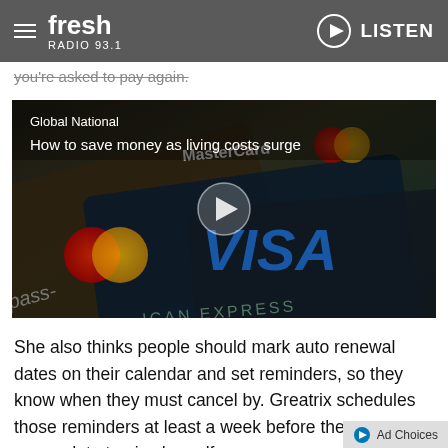Fresh Radio 93.1 | LISTEN
you're asked to pay again.
[Figure (screenshot): Video thumbnail showing credit cards (MasterCard, Visa, American Express) with play button overlay. Title: Global National – How to save money as living costs surge]
She also thinks people should mark auto renewal dates on their calendar and set reminders, so they know when they must cancel by. Greatrix schedules those reminders at least a week before the auto renew date to give herself an ex
Ad Choices